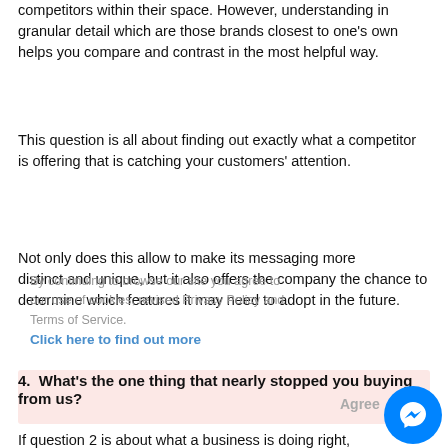competitors within their space. However, understanding in granular detail which are those brands closest to one's own helps you compare and contrast in the most helpful way.
This question is all about finding out exactly what a competitor is offering that is catching your customers' attention.
Not only does this allow to make its messaging more distinct and unique, but it also offers the company the chance to determine which features it may need to adopt in the future.
4.  What’s the one thing that nearly stopped you buying from us?
If question 2 is about what a business is doing right, question it is about what it’s doing wrong...